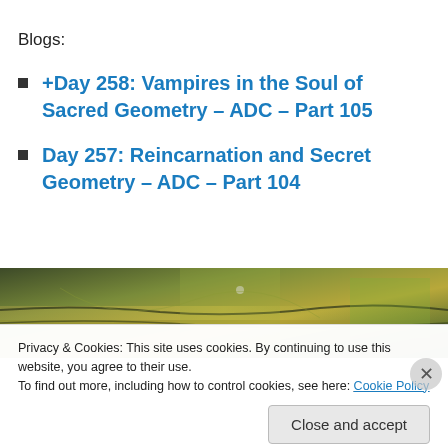Blogs:
+Day 258: Vampires in the Soul of Sacred Geometry – ADC – Part 105
Day 257: Reincarnation and Secret Geometry – ADC – Part 104
[Figure (photo): Photograph showing abstract organic texture with green, olive, and yellow tones resembling bark or natural material]
Privacy & Cookies: This site uses cookies. By continuing to use this website, you agree to their use.
To find out more, including how to control cookies, see here: Cookie Policy
Close and accept